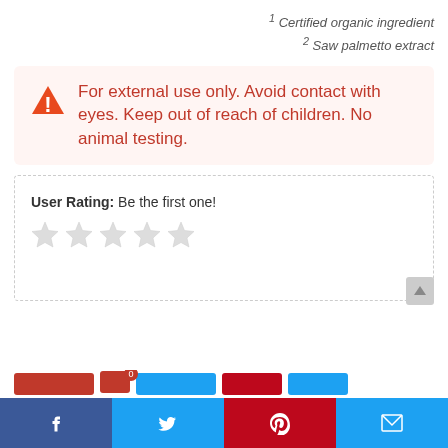(¹) Certified organic ingredient
(²) Saw palmetto extract
For external use only. Avoid contact with eyes. Keep out of reach of children. No animal testing.
User Rating: Be the first one!
[Figure (other): Five empty/grey star rating icons]
[Figure (other): Social media share bar with Facebook, Twitter, Pinterest, and email icons]